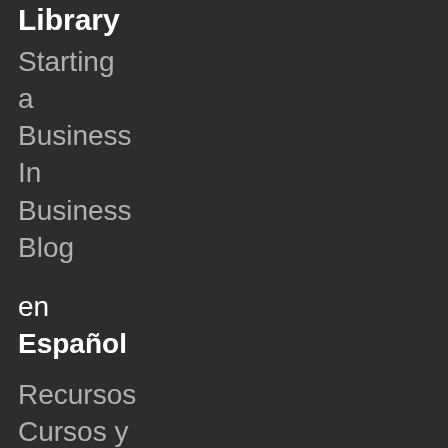Library
Starting
a
Business
In
Business
Blog
en
Español
Recursos
Cursos y
Eventos
Busque
un
Asesor